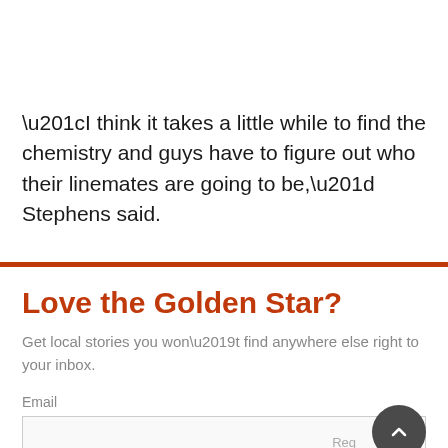“I think it takes a little while to find the chemistry and guys have to figure out who their linemates are going to be,” Stephens said.
Love the Golden Star?
Get local stories you won’t find anywhere else right to your inbox.
Email